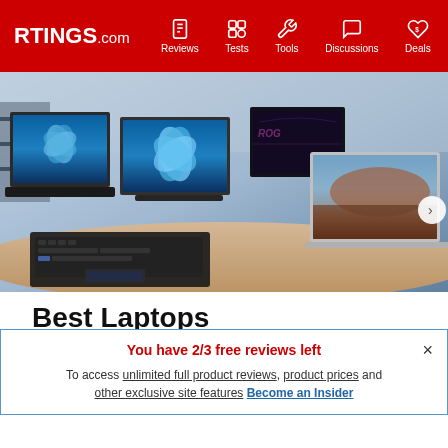RTINGS.com | Reviews | Tests | Tools | Discussions | Deals
[Figure (photo): Multiple laptops displayed on a wooden surface showing various screens including Windows 11 wallpapers, ROG gaming laptop, and MacBook-style laptop, shot in a studio setting]
Best Laptops
You have 2/3 free reviews left
To access unlimited full product reviews, product prices and other exclusive site features Become an Insider